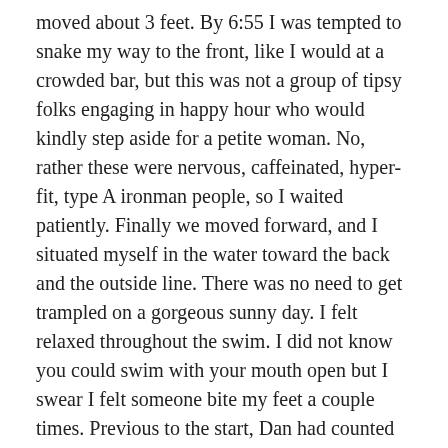moved about 3 feet. By 6:55 I was tempted to snake my way to the front, like I would at a crowded bar, but this was not a group of tipsy folks engaging in happy hour who would kindly step aside for a petite woman. No, rather these were nervous, caffeinated, hyper-fit, type A ironman people, so I waited patiently. Finally we moved forward, and I situated myself in the water toward the back and the outside line. There was no need to get trampled on a gorgeous sunny day. I felt relaxed throughout the swim. I did not know you could swim with your mouth open but I swear I felt someone bite my feet a couple times. Previous to the start, Dan had counted the buoys for me (nine each long side of the rectangle). I would get to about four or five, then lose count. I found my breathing matched that Beatles song that goes, “Listen… Do you want to know a secret.. do wah do… I’m in love with you… do do do do…” So that was in my head for a while. I completed the 2.4 mile swim in 1:41 which is about what I had expected. [Note to self: